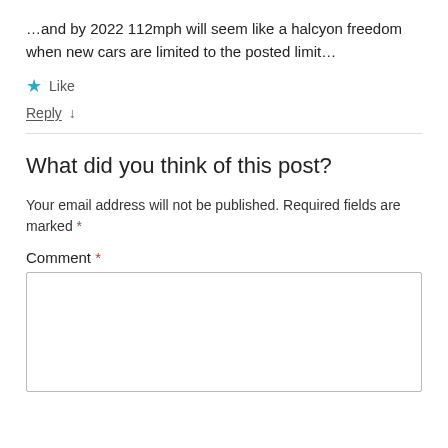…and by 2022 112mph will seem like a halcyon freedom when new cars are limited to the posted limit…
★ Like
Reply ↓
What did you think of this post?
Your email address will not be published. Required fields are marked *
Comment *